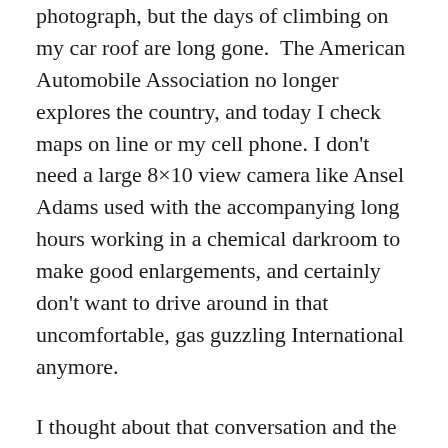photograph, but the days of climbing on my car roof are long gone.  The American Automobile Association no longer explores the country, and today I check maps on line or my cell phone. I don't need a large 8×10 view camera like Ansel Adams used with the accompanying long hours working in a chemical darkroom to make good enlargements, and certainly don't want to drive around in that uncomfortable, gas guzzling International anymore.
I thought about that conversation and the many scenic photographs I have made while driving along the South Thompson River towards Kamloops, British Columbia as I pulled off the road to meet up with fellow photographer Peter Evans. Evans and I were hoping the sun on the gray, overcast day would poke through the clouds enough for us to make some worthwhile pictures. We had headed out on the snow-covered roads without a plan. Not the